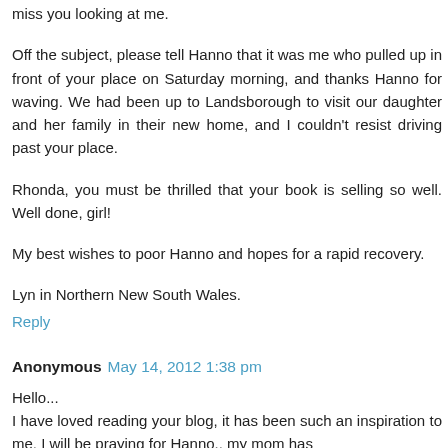miss you looking at me.
Off the subject, please tell Hanno that it was me who pulled up in front of your place on Saturday morning, and thanks Hanno for waving. We had been up to Landsborough to visit our daughter and her family in their new home, and I couldn't resist driving past your place.
Rhonda, you must be thrilled that your book is selling so well. Well done, girl!
My best wishes to poor Hanno and hopes for a rapid recovery.
Lyn in Northern New South Wales.
Reply
Anonymous May 14, 2012 1:38 pm
Hello...
I have loved reading your blog, it has been such an inspiration to me. I will be praying for Hanno.. my mom has